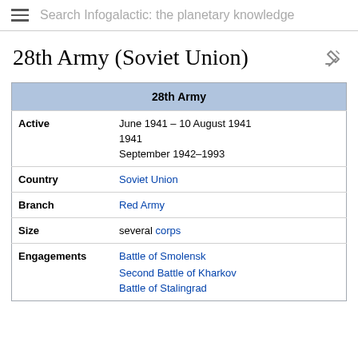Search Infogalactic: the planetary knowledge
28th Army (Soviet Union)
| 28th Army |
| --- |
| Active | June 1941 – 10 August 1941
1941
September 1942–1993 |
| Country | Soviet Union |
| Branch | Red Army |
| Size | several corps |
| Engagements | Battle of Smolensk
Second Battle of Kharkov
Battle of Stalingrad |